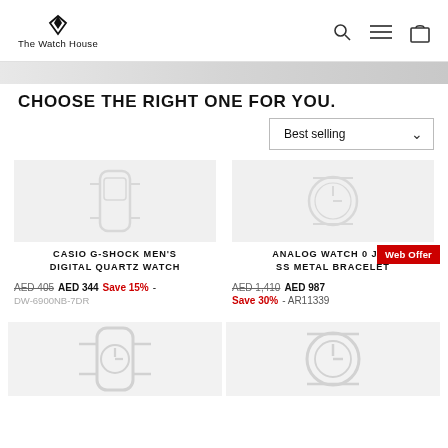The Watch House
CHOOSE THE RIGHT ONE FOR YOU.
Best selling
CASIO G-SHOCK MEN'S DIGITAL QUARTZ WATCH
AED 405  AED 344  Save 15% - DW-6900NB-7DR
ANALOG WATCH 0 JWL SS METAL BRACELET
AED 1,410  AED 987  Save 30% - AR11339
Web Offer